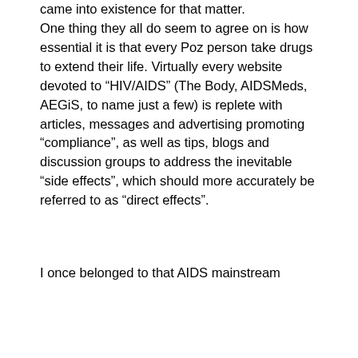came into existence for that matter. One thing they all do seem to agree on is how essential it is that every Poz person take drugs to extend their life. Virtually every website devoted to “HIV/AIDS” (The Body, AIDSMeds, AEGiS, to name just a few) is replete with articles, messages and advertising promoting “compliance”, as well as tips, blogs and discussion groups to address the inevitable “side effects”, which should more accurately be referred to as “direct effects”.
I once belonged to that AIDS mainstream